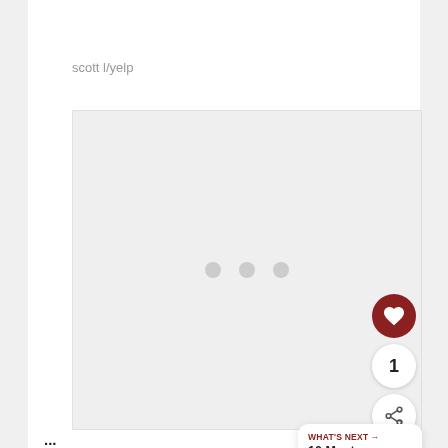scott l/yelp
[Figure (photo): Large light gray image placeholder with three gray dots indicating a loading state]
[Figure (infographic): UI overlay showing a dark red heart/favorite button, a share button, a count of 1, and a 'What's Next' card reading '10 Most Terrifying...']
WHAT'S NEXT → 10 Most Terrifying...